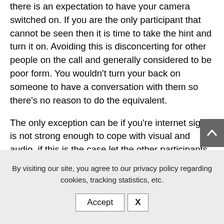You're joining a video call not a phone call so there is an expectation to have your camera switched on. If you are the only participant that cannot be seen then it is time to take the hint and turn it on. Avoiding this is disconcerting for other people on the call and generally considered to be poor form. You wouldn't turn your back on someone to have a conversation with them so there's no reason to do the equivalent.
The only exception can be if you're internet signal is not strong enough to cope with visual and audio, if this is the case let the other participants know this is the case. Don't keep
By visiting our site, you agree to our privacy policy regarding cookies, tracking statistics, etc.